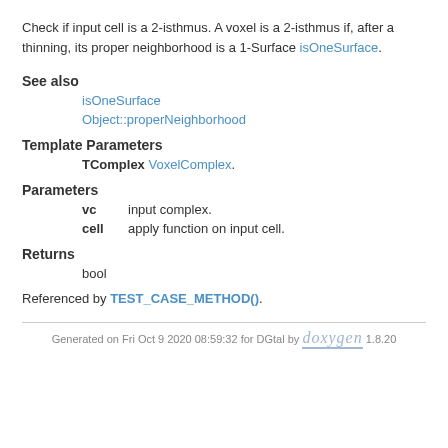Check if input cell is a 2-isthmus. A voxel is a 2-isthmus if, after a thinning, its proper neighborhood is a 1-Surface isOneSurface.
See also
isOneSurface
Object::properNeighborhood
Template Parameters
TComplex VoxelComplex.
Parameters
vc   input complex.
cell apply function on input cell.
Returns
bool
Referenced by TEST_CASE_METHOD().
Generated on Fri Oct 9 2020 08:59:32 for DGtal by doxygen 1.8.20